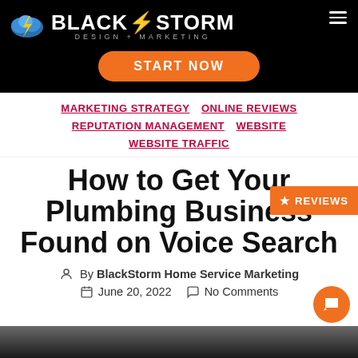[Figure (logo): BlackStorm Design + Marketing logo with lightning bolt icon on black background, with START NOW orange button]
MARKETING STRATEGY  ONLINE REVIEWS  REPUTATION MANAGEMENT  WEBSITE  WEBSITE TRAFFIC
How to Get Your Plumbing Business Found on Voice Search
By BlackStorm Home Service Marketing
June 20, 2022   No Comments